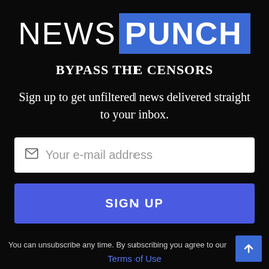[Figure (logo): NewsPunch logo: 'NEWS' in white thin letters followed by 'PUNCH' in white bold letters on a blue rectangle background]
BYPASS THE CENSORS
Sign up to get unfiltered news delivered straight to your inbox.
[Figure (infographic): Email input field with placeholder text 'Your e-mail address' and an envelope icon]
[Figure (infographic): Blue SIGN UP button]
You can unsubscribe any time. By subscribing you agree to our
Terms of Use